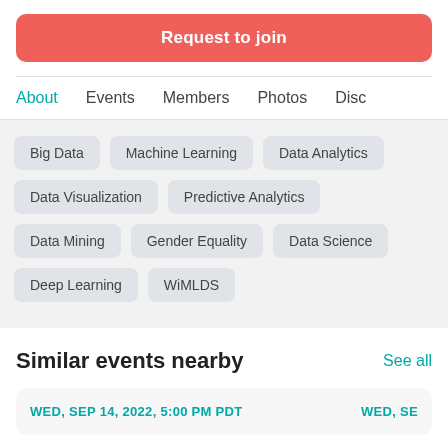Request to join
About
Events
Members
Photos
Disc
Big Data
Machine Learning
Data Analytics
Data Visualization
Predictive Analytics
Data Mining
Gender Equality
Data Science
Deep Learning
WiMLDS
Similar events nearby
See all
WED, SEP 14, 2022, 5:00 PM PDT
WED, SE